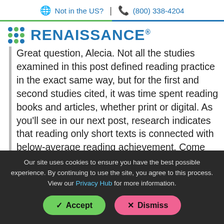Not in the US? | (800) 338-4204
[Figure (logo): Renaissance logo with blue dot grid and blue wordmark 'RENAISSANCE']
Great question, Alecia. Not all the studies examined in this post defined reading practice in the exact same way, but for the first and second studies cited, it was time spent reading books and articles, whether print or digital. As you'll see in our next post, research indicates that reading only short texts is connected with below-average reading achievement. Come back in a week for a deeper dive
Our site uses cookies to ensure you have the best possible experience. By continuing to use the site, you agree to this process. View our Privacy Hub for more information.